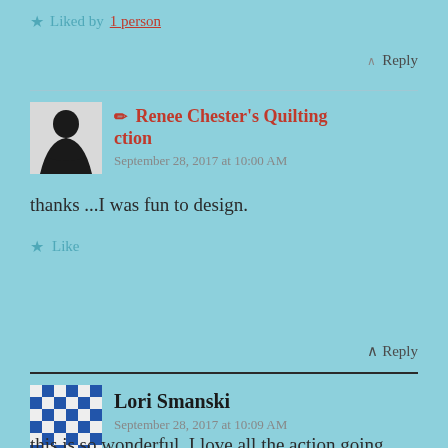★ Liked by 1 person
↑ Reply
✏ Renee Chester's Quilting ction
September 28, 2017 at 10:00 AM
thanks ...I was fun to design.
★ Like
↑ Reply
Lori Smanski
September 28, 2017 at 10:09 AM
this is so wonderful. I love all the action going